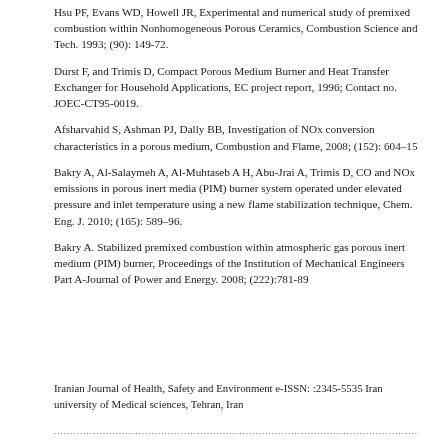Hsu PF, Evans WD, Howell JR, Experimental and numerical study of premixed combustion within Nonhomogeneous Porous Ceramics, Combustion Science and Tech. 1993; (90): 149-72.
Durst F, and Trimis D, Compact Porous Medium Burner and Heat Transfer Exchanger for Household Applications, EC project report, 1996; Contact no. JOEC-CT95-0019.
Afsharvahid S, Ashman PJ, Dally BB, Investigation of NOx conversion characteristics in a porous medium, Combustion and Flame, 2008; (152): 604–15
Bakry A, Al-Salaymeh A, Al-Muhtaseb A H, Abu-Jrai A, Trimis D, CO and NOx emissions in porous inert media (PIM) burner system operated under elevated pressure and inlet temperature using a new flame stabilization technique, Chem. Eng. J. 2010; (165): 589–96.
Bakry A. Stabilized premixed combustion within atmospheric gas porous inert medium (PIM) burner, Proceedings of the Institution of Mechanical Engineers Part A-Journal of Power and Energy. 2008; (222):781-89
Iranian Journal of Health, Safety and Environment e-ISSN: :2345-5535 Iran university of Medical sciences, Tehran, Iran